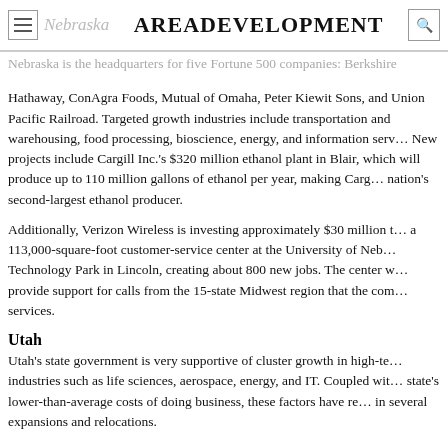Nebraska | AreaDevelopment
Nebraska is the headquarters for five Fortune 500 companies: Berkshire Hathaway, ConAgra Foods, Mutual of Omaha, Peter Kiewit Sons, and Union Pacific Railroad. Targeted growth industries include transportation and warehousing, food processing, bioscience, energy, and information services. New projects include Cargill Inc.'s $320 million ethanol plant in Blair, which will produce up to 110 million gallons of ethanol per year, making Cargill the nation's second-largest ethanol producer.
Additionally, Verizon Wireless is investing approximately $30 million to build a 113,000-square-foot customer-service center at the University of Nebraska Technology Park in Lincoln, creating about 800 new jobs. The center will provide support for calls from the 15-state Midwest region that the company services.
Utah
Utah's state government is very supportive of cluster growth in high-tech industries such as life sciences, aerospace, energy, and IT. Coupled with the state's lower-than-average costs of doing business, these factors have resulted in several expansions and relocations.
Denver-based Qwest Communications is opening a new $25 million call center in north Logan and hiring 600 workers to service its 14-state service territory. The company is also the largest employer of Qwest employees in Utah...